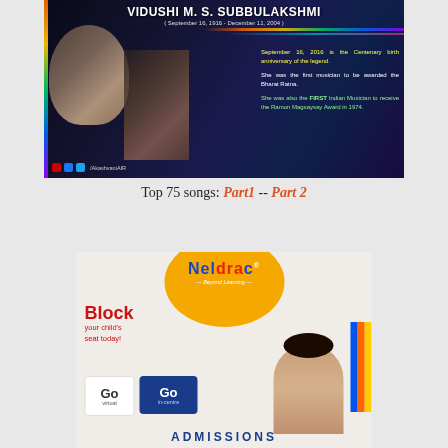[Figure (photo): Commemorative banner for Vidushi M. S. Subbulakshmi (September 16, 1916 – December 11, 2004). Dark blue/purple gradient background with photos of the musician. Text: 'September 16, 2016 is the Centenary birth anniversary of the legend. She was the first musician to be awarded the Bharat Ratna. She was also the FIRST Indian Musician to receive the Ramon Magsaysay Award in 1974.' Social media icons with /AkashvaniAIR handle.]
Top 75 songs: Part1 -- Part 2
[Figure (photo): Neldrac Beyond Learning advertisement. Yellow/orange circle with Neldrac logo at top. Red bold text: Block your child's seat today! Two buttons: Go virtual (white) and Go in-centre (dark blue). Partially visible ADMISSIONS text at bottom. Child photo on right side.]